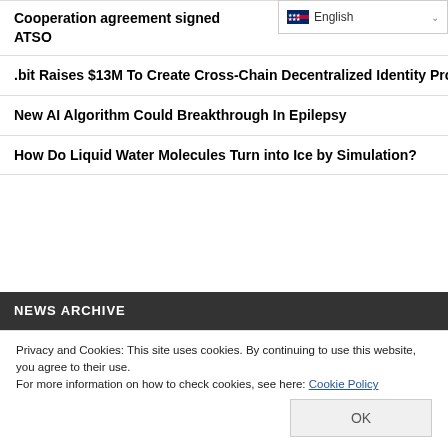[Figure (screenshot): English language selector dropdown button with flag icon and chevron]
Cooperation agreement signed ATSO
.bit Raises $13M To Create Cross-Chain Decentralized Identity Protocol
New AI Algorithm Could Breakthrough In Epilepsy
How Do Liquid Water Molecules Turn into Ice by Simulation?
NEWS ARCHIVE
Privacy and Cookies: This site uses cookies. By continuing to use this website, you agree to their use.
For more information on how to check cookies, see here: Cookie Policy
OK
4  5  6  7  8  9  10